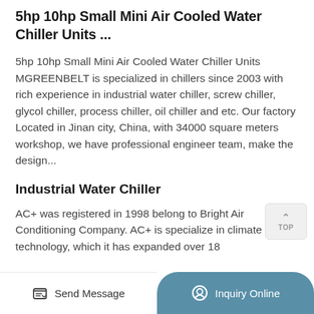5hp 10hp Small Mini Air Cooled Water Chiller Units ...
5hp 10hp Small Mini Air Cooled Water Chiller Units MGREENBELT is specialized in chillers since 2003 with rich experience in industrial water chiller, screw chiller, glycol chiller, process chiller, oil chiller and etc. Our factory Located in Jinan city, China, with 34000 square meters workshop, we have professional engineer team, make the design...
Industrial Water Chiller
AC+ was registered in 1998 belong to Bright Air Conditioning Company. AC+ is specialize in climate technology, which it has expanded over 18
Send Message   Inquiry Online